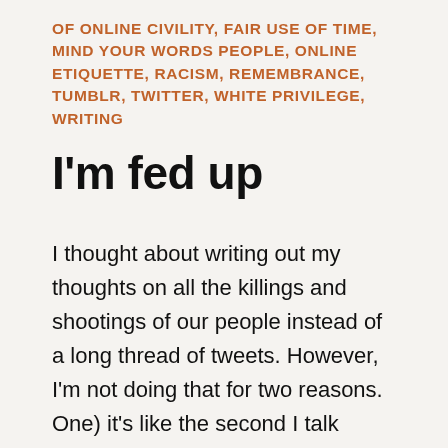OF ONLINE CIVILITY, FAIR USE OF TIME, MIND YOUR WORDS PEOPLE, ONLINE ETIQUETTE, RACISM, REMEMBRANCE, TUMBLR, TWITTER, WHITE PRIVILEGE, WRITING
I'm fed up
I thought about writing out my thoughts on all the killings and shootings of our people instead of a long thread of tweets. However, I'm not doing that for two reasons.
One) it's like the second I talk about one person's murder by cops, another occurs in hours if not days and it's exhausting emotionally, physically to